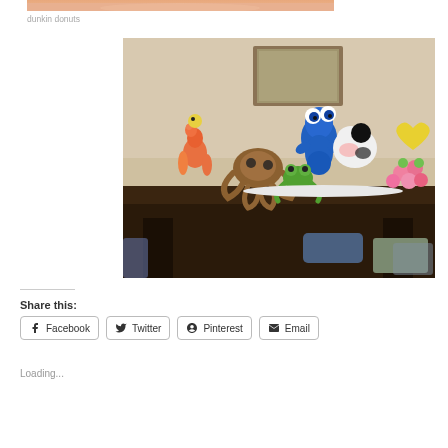[Figure (photo): Partial top edge of a Dunkin Donuts image showing orange/donut colors]
dunkin donuts
[Figure (photo): Collection of balloon animal sculptures on a dark table including Cookie Monster, a cow, a dinosaur/giraffe, a pretzel shape, a green frog, pink flowers, and other colorful balloon art. A framed picture is visible on the wall behind.]
Share this:
Facebook  Twitter  Pinterest  Email
Loading...